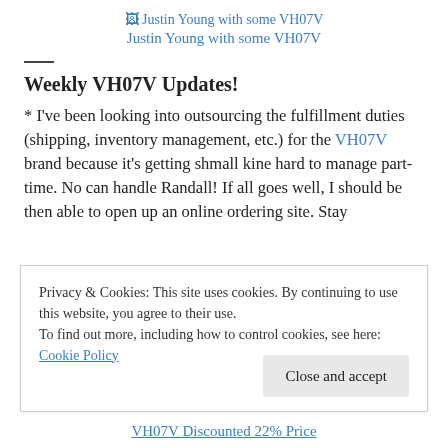[Figure (photo): Broken image placeholder showing alt text: Justin Young with some VH07V]
Justin Young with some VH07V
Weekly VH07V Updates!
* I've been looking into outsourcing the fulfillment duties (shipping, inventory management, etc.) for the VH07V brand because it's getting shmall kine hard to manage part-time. No can handle Randall! If all goes well, I should be then able to open up an online ordering site. Stay
Privacy & Cookies: This site uses cookies. By continuing to use this website, you agree to their use.
To find out more, including how to control cookies, see here: Cookie Policy
Close and accept
VH07V Discounted 22% Price